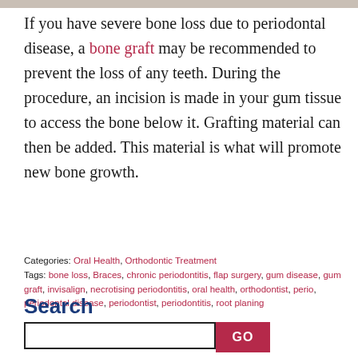If you have severe bone loss due to periodontal disease, a bone graft may be recommended to prevent the loss of any teeth. During the procedure, an incision is made in your gum tissue to access the bone below it. Grafting material can then be added. This material is what will promote new bone growth.
Categories: Oral Health, Orthodontic Treatment Tags: bone loss, Braces, chronic periodontitis, flap surgery, gum disease, gum graft, invisalign, necrotising periodontitis, oral health, orthodontist, perio, periodontal disease, periodontist, periodontitis, root planing
Search